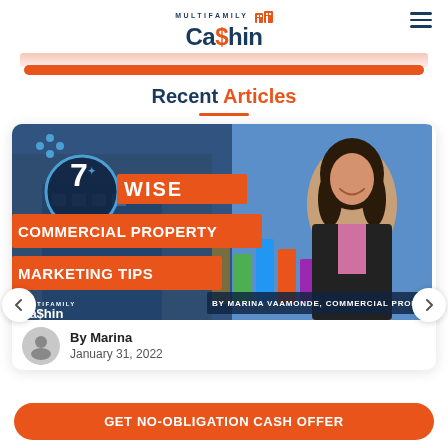MULTIFAMILY Ca$hin
Recent Articles
[Figure (screenshot): Article thumbnail: '7 Wise Commercial Property Marketing Tips' by Marina Vaamonde, Commercial Property Investor — Multifamily Cashin branded image with woman in black jacket smiling, orange banner text overlay]
By Marina
January 31, 2022
GET NO-OBLIGATION CASH OFFER